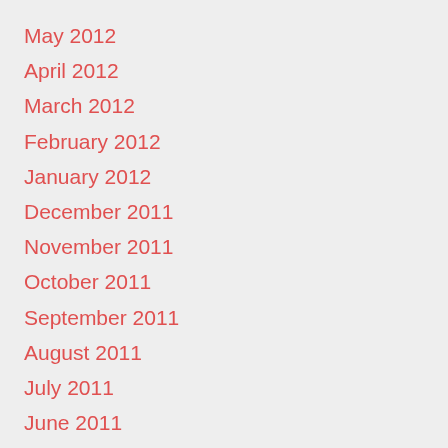May 2012
April 2012
March 2012
February 2012
January 2012
December 2011
November 2011
October 2011
September 2011
August 2011
July 2011
June 2011
May 2011
April 2011